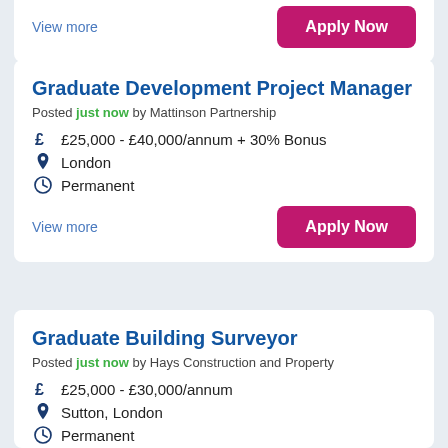View more
Apply Now
Graduate Development Project Manager
Posted just now by Mattinson Partnership
£25,000 - £40,000/annum + 30% Bonus
London
Permanent
View more
Apply Now
Graduate Building Surveyor
Posted just now by Hays Construction and Property
£25,000 - £30,000/annum
Sutton, London
Permanent